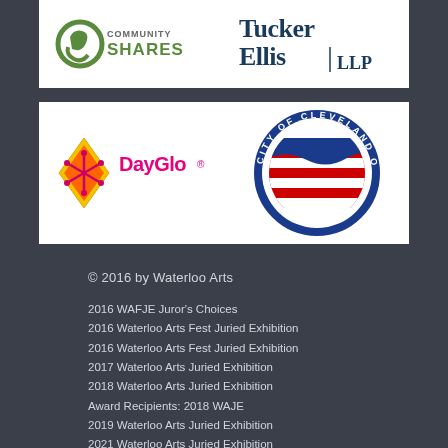[Figure (logo): Community Shares logo with green swirl graphic and text 'COMMUNITY SHARES']
[Figure (logo): Tucker Ellis LLP law firm logo in dark teal/navy text]
[Figure (logo): DayGlo logo with diamond shape and colorful snowflake pattern]
[Figure (logo): City of Cleveland Ohio official seal/emblem with circular blue border and American flag]
© 2016 by Waterloo Arts
2016 WAFJE Juror's Choices
2016 Waterloo Arts Fest Juried Exhibition
2016 Waterloo Arts Fest Juried Exhibition
2017 Waterloo Arts Juried Exhibition
2018 Waterloo Arts Juried Exhibition
Award Recipients: 2018 WAJE
2019 Waterloo Arts Juried Exhibition
2021 Waterloo Arts Juried Exhibition